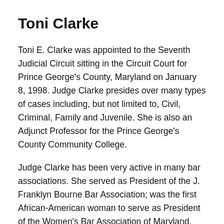Toni Clarke
Toni E. Clarke was appointed to the Seventh Judicial Circuit sitting in the Circuit Court for Prince George’s County, Maryland on January 8, 1998. Judge Clarke presides over many types of cases including, but not limited to, Civil, Criminal, Family and Juvenile. She is also an Adjunct Professor for the Prince George’s County Community College.
Judge Clarke has been very active in many bar associations. She served as President of the J. Franklyn Bourne Bar Association; was the first African-American woman to serve as President of the Women’s Bar Association of Maryland, Inc.; and was the first African American to serve as President of the Prince George’s County Bar